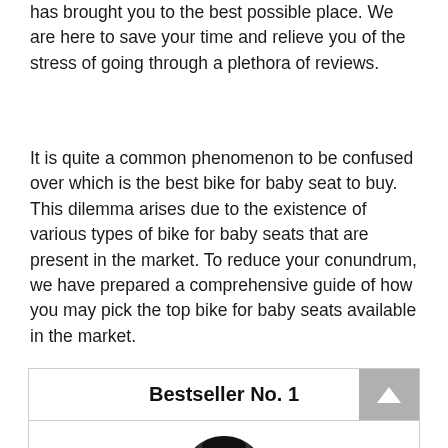has brought you to the best possible place. We are here to save your time and relieve you of the stress of going through a plethora of reviews.
It is quite a common phenomenon to be confused over which is the best bike for baby seat to buy. This dilemma arises due to the existence of various types of bike for baby seats that are present in the market. To reduce your conundrum, we have prepared a comprehensive guide of how you may pick the top bike for baby seats available in the market.
Bestseller No. 1
[Figure (photo): Partial view of a dark-colored helmet or bike seat product at the bottom of a bestseller box]